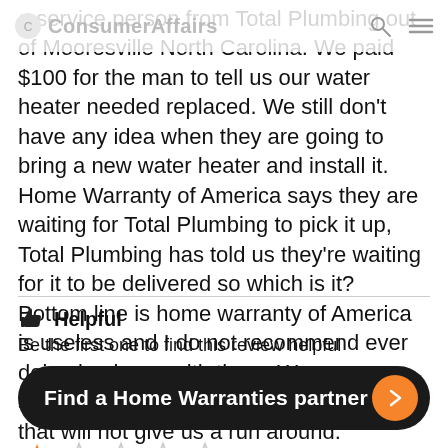ConsumerAffairs
a service person from Total Plumbing out of Mooresville North Carolina. We paid $100 for the man to tell us our water heater needed replaced. We still don't have any idea when they are going to bring a new water heater and install it. Home Warranty of America says they are waiting for Total Plumbing to pick it up, Total Plumbing has told us they're waiting for it to be delivered so which is it? Bottom line is home warranty of America is useless and I do not recommend ever doing business with them. We are searching for a better warranty company that will not give us a run around.
Helpful
Be the first one to find this review helpful
Find a Home Warranties partner